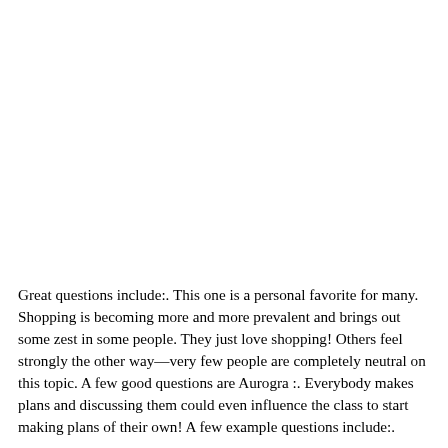Great questions include:. This one is a personal favorite for many. Shopping is becoming more and more prevalent and brings out some zest in some people. They just love shopping! Others feel strongly the other way—very few people are completely neutral on this topic. A few good questions are Aurogra :. Everybody makes plans and discussing them could even influence the class to start making plans of their own! A few example questions include:.